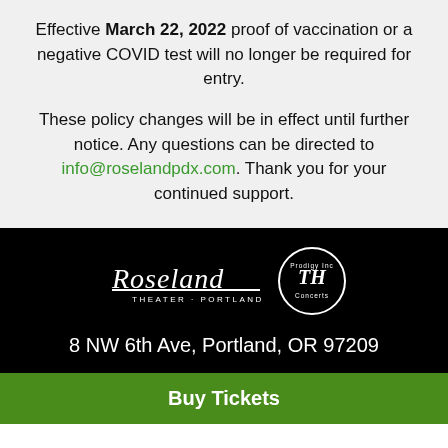Effective March 22, 2022 proof of vaccination or a negative COVID test will no longer be required for entry.
These policy changes will be in effect until further notice. Any questions can be directed to info@roselandpdx.com. Thank you for your continued support.
[Figure (logo): Roseland Theater logo and Prodigy Inc Concerts circular logo on black background]
8 NW 6th Ave, Portland, OR 97209
Buy Tickets